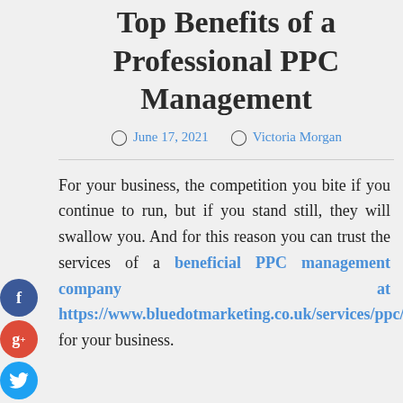Top Benefits of a Professional PPC Management
June 17, 2021   Victoria Morgan
For your business, the competition you bite if you continue to run, but if you stand still, they will swallow you. And for this reason you can trust the services of a beneficial PPC management company at https://www.bluedotmarketing.co.uk/services/ppc/ for your business.